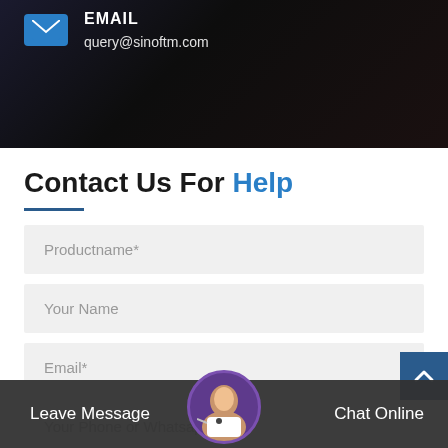[Figure (screenshot): Dark banner header with email icon and address query@sinoftm.com]
Contact Us For Help
Productname*
Your Name
Email*
Your Phone or Whatsapp
Leave Message
Chat Online